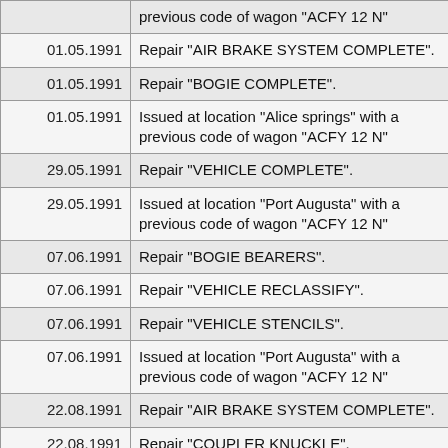| Date | Description |
| --- | --- |
|  | previous code of wagon "ACFY 12 N" |
| 01.05.1991 | Repair "AIR BRAKE SYSTEM COMPLETE". |
| 01.05.1991 | Repair "BOGIE COMPLETE". |
| 01.05.1991 | Issued at location "Alice springs" with a previous code of wagon "ACFY 12 N" |
| 29.05.1991 | Repair "VEHICLE COMPLETE". |
| 29.05.1991 | Issued at location "Port Augusta" with a previous code of wagon "ACFY 12 N" |
| 07.06.1991 | Repair "BOGIE BEARERS". |
| 07.06.1991 | Repair "VEHICLE RECLASSIFY". |
| 07.06.1991 | Repair "VEHICLE STENCILS". |
| 07.06.1991 | Issued at location "Port Augusta" with a previous code of wagon "ACFY 12 N" |
| 22.08.1991 | Repair "AIR BRAKE SYSTEM COMPLETE". |
| 22.08.1991 | Repair "COUPLER KNUCKLE". |
| 22.08.1991 | Repair "DOOR LOCK MECHANISM". |
| 22.08.1991 | Issued at location "One spot" with a |